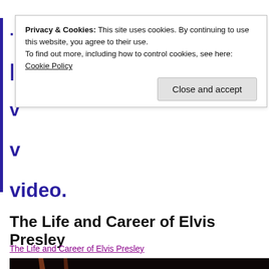Privacy & Cookies: This site uses cookies. By continuing to use this website, you agree to their use.
To find out more, including how to control cookies, see here: Cookie Policy
Close and accept
video.
The Life and Career of Elvis Presley
The Life and Career of Elvis Presley
[Figure (photo): Dark performance/concert photo showing a person playing guitar on stage with colored stage lights in the background]